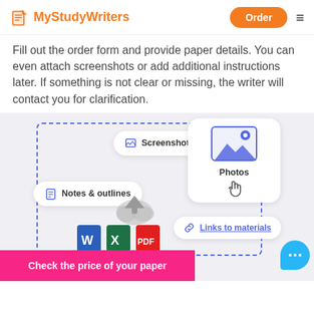MyStudyWriters | Order
Fill out the order form and provide paper details. You can even attach screenshots or add additional instructions later. If something is not clear or missing, the writer will contact you for clarification.
[Figure (infographic): Infographic showing file upload options: Screenshots, Notes & outlines, Photos, Documents (if any: Word, Excel, PDF), and Links to materials, with a cloud upload icon in the center, all within a dashed blue border box. A blue chat bubble is in the bottom right.]
Check the price of your paper